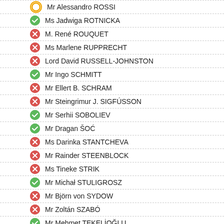Mr Alessandro ROSSI
Ms Jadwiga ROTNICKA
M. René ROUQUET
Ms Marlene RUPPRECHT
Lord David RUSSELL-JOHNSTON
Mr Ingo SCHMITT
Mr Ellert B. SCHRAM
Mr Steingrimur J. SIGFÚSSON
Mr Serhii SOBOLIEV
Mr Dragan ŠOĆ
Ms Darinka STANTCHEVA
Mr Rainder STEENBLOCK
Ms Tineke STRIK
Mr Michał STULIGROSZ
Mr Björn von SYDOW
Mr Zoltán SZABÓ
Mr Mehmet TEKELİOĞLU